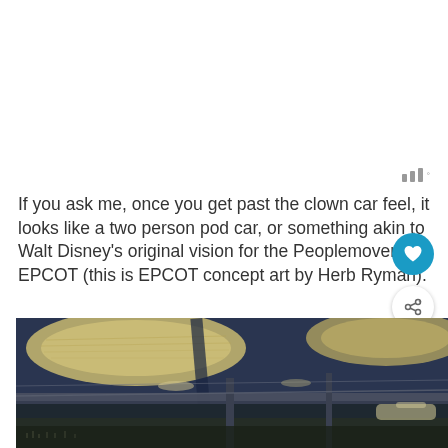[Figure (other): Signal/bars icon with a small superscript degree symbol, grey colored, top right area]
If you ask me, once you get past the clown car feel, it looks like a two person pod car, or something akin to Walt Disney's original vision for the Peoplemover in EPCOT (this is EPCOT concept art by Herb Ryman).
[Figure (illustration): EPCOT concept art by Herb Ryman showing a futuristic interior space with large oval ceiling structures, elevated walkways, crowds of people below, and modernist architectural elements in yellows, blues, and greys.]